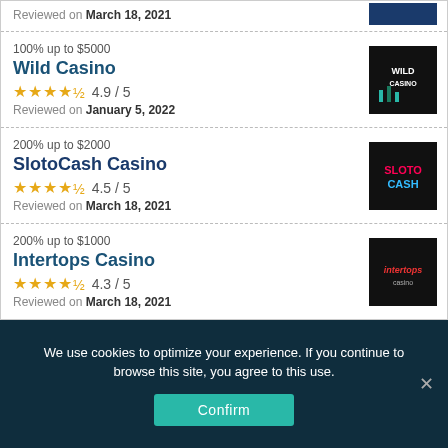Reviewed on March 18, 2021
100% up to $5000 | Wild Casino | 4.9 / 5 | Reviewed on January 5, 2022
200% up to $2000 | SlotoCash Casino | 4.5 / 5 | Reviewed on March 18, 2021
200% up to $1000 | Intertops Casino | 4.3 / 5 | Reviewed on March 18, 2021
We use cookies to optimize your experience. If you continue to browse this site, you agree to this use.
Confirm